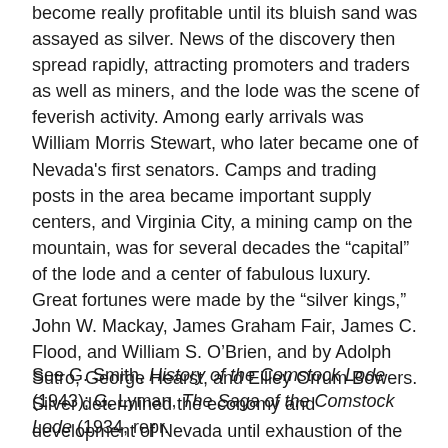become really profitable until its bluish sand was assayed as silver. News of the discovery then spread rapidly, attracting promoters and traders as well as miners, and the lode was the scene of feverish activity. Among early arrivals was William Morris Stewart, who later became one of Nevada's first senators. Camps and trading posts in the area became important supply centers, and Virginia City, a mining camp on the mountain, was for several decades the “capital” of the lode and a center of fabulous luxury. Great fortunes were made by the “silver kings,” John W. Mackay, James Graham Fair, James C. Flood, and William S. O’Brien, and by Adolph Sutro, George Hearst, and Eilley Orrum Bowers. Silver determined the economy and development of Nevada until exhaustion of the mines by wasteful methods of mining and the demonetization of silver started a decline in the 1870s. By 1898 the Comstock was virtually abandoned.
See G. Smith, History of the Comstock Lode (1943); G. Lyman, The Saga of the Comstock Lode (1934, repr.